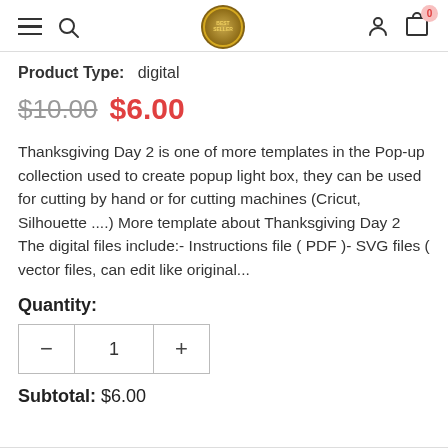Navigation bar with hamburger menu, search, logo, user icon, cart (0)
Product Type:   digital
$10.00  $6.00
Thanksgiving Day 2 is one of more templates in the Pop-up collection used to create popup light box, they can be used for cutting by hand or for cutting machines (Cricut, Silhouette ....) More template about Thanksgiving Day 2 The digital files include:- Instructions file ( PDF )- SVG files ( vector files, can edit like original...
Quantity:
- 1 +
Subtotal:  $6.00